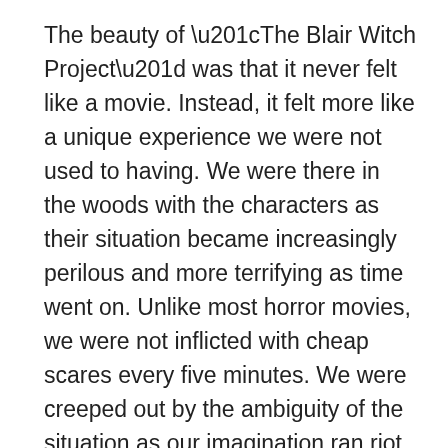The beauty of “The Blair Witch Project” was that it never felt like a movie. Instead, it felt more like a unique experience we were not used to having. We were there in the woods with the characters as their situation became increasingly perilous and more terrifying as time went on. Unlike most horror movies, we were not inflicted with cheap scares every five minutes. We were creeped out by the ambiguity of the situation as our imagination ran riot over the things we could not see. This is not to mention the movie’s brilliant marketing campaign which included the fake documentary “Curse of the Blair Witch” and missing photos of the three filmmakers